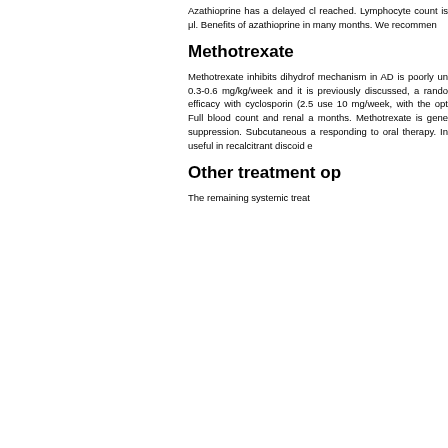Azathioprine has a delayed clinical effect until reached. Lymphocyte count is μl. Benefits of azathioprine in many months. We recommen
Methotrexate
Methotrexate inhibits dihydrof mechanism in AD is poorly un 0.3-0.6 mg/kg/week and it is previously discussed, a rando efficacy with cyclosporin (2.5 use 10 mg/week, with the opt Full blood count and renal a months. Methotrexate is gene suppression. Subcutaneous a responding to oral therapy. In useful in recalcitrant discoid e
Other treatment op
The remaining systemic treat